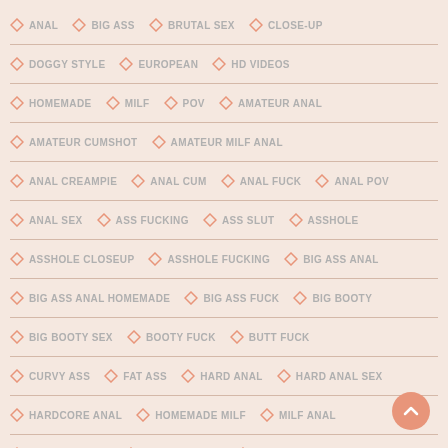ANAL
BIG ASS
BRUTAL SEX
CLOSE-UP
DOGGY STYLE
EUROPEAN
HD VIDEOS
HOMEMADE
MILF
POV
AMATEUR ANAL
AMATEUR CUMSHOT
AMATEUR MILF ANAL
ANAL CREAMPIE
ANAL CUM
ANAL FUCK
ANAL POV
ANAL SEX
ASS FUCKING
ASS SLUT
ASSHOLE
ASSHOLE CLOSEUP
ASSHOLE FUCKING
BIG ASS ANAL
BIG ASS ANAL HOMEMADE
BIG ASS FUCK
BIG BOOTY
BIG BOOTY SEX
BOOTY FUCK
BUTT FUCK
CURVY ASS
FAT ASS
HARD ANAL
HARD ANAL SEX
HARDCORE ANAL
HOMEMADE MILF
MILF ANAL
MILF ANAL SEX
POV ANAL SEX
THICK ASS